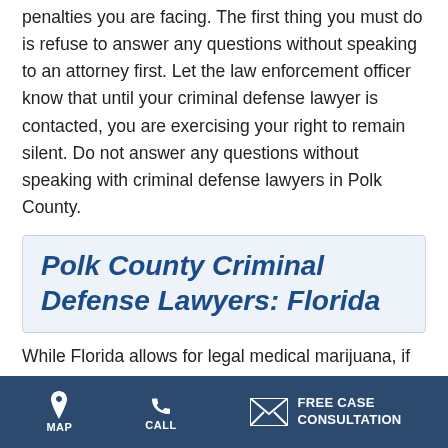penalties you are facing. The first thing you must do is refuse to answer any questions without speaking to an attorney first. Let the law enforcement officer know that until your criminal defense lawyer is contacted, you are exercising your right to remain silent. Do not answer any questions without speaking with criminal defense lawyers in Polk County.
Polk County Criminal Defense Lawyers: Florida
While Florida allows for legal medical marijuana, if the
MAP | CALL | FREE CASE CONSULTATION